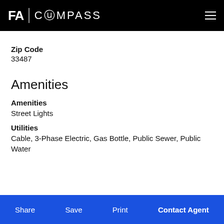FA | COMPASS
Zip Code
33487
Amenities
Amenities
Street Lights
Utilities
Cable, 3-Phase Electric, Gas Bottle, Public Sewer, Public Water
Share  Save  Print  Contact Agent